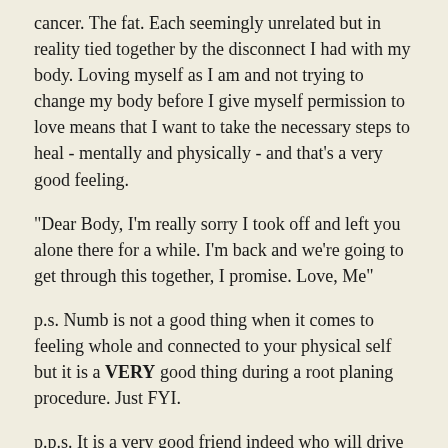cancer. The fat. Each seemingly unrelated but in reality tied together by the disconnect I had with my body. Loving myself as I am and not trying to change my body before I give myself permission to love means that I want to take the necessary steps to heal - mentally and physically - and that's a very good feeling.
"Dear Body, I'm really sorry I took off and left you alone there for a while. I'm back and we're going to get through this together, I promise. Love, Me"
p.s. Numb is not a good thing when it comes to feeling whole and connected to your physical self but it is a VERY good thing during a root planing procedure. Just FYI.
p.p.s. It is a very good friend indeed who will drive your drugged-out self to the dentist at 6:45 a.m. and allow you in their beautiful car afterwards even as you're drooling